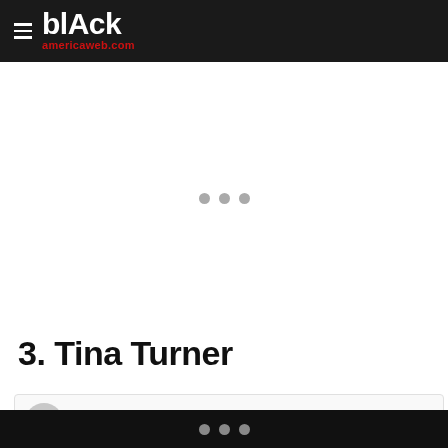≡ blAck americaweb.com
[Figure (other): Loading/advertisement placeholder area with three grey dots centered]
3. Tina Turner
[Figure (other): Social media embed preview with circular avatar placeholder and grey text bar]
• • •